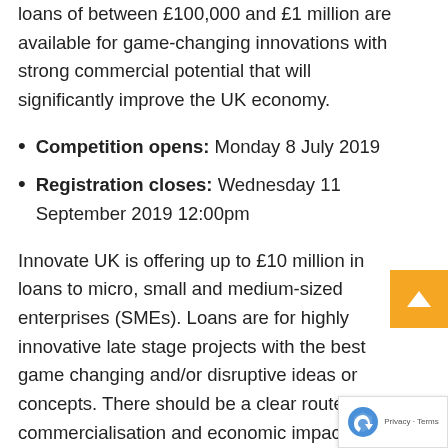loans of between £100,000 and £1 million are available for game-changing innovations with strong commercial potential that will significantly improve the UK economy.
Competition opens: Monday 8 July 2019
Registration closes: Wednesday 11 September 2019 12:00pm
Innovate UK is offering up to £10 million in loans to micro, small and medium-sized enterprises (SMEs). Loans are for highly innovative late stage projects with the best game changing and/or disruptive ideas or concepts. There should be a clear route to commercialisation and economic impact.
Projects should aim to develop new products, processes or services (or innovative use of existing